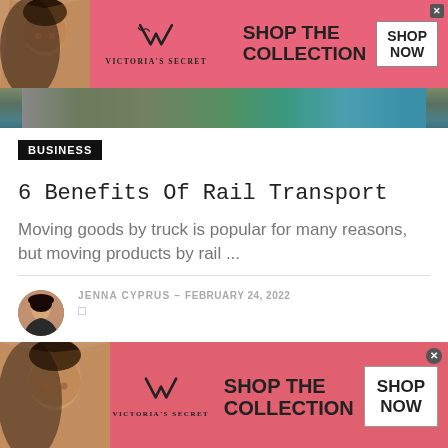[Figure (other): Victoria's Secret advertisement banner with model, VS logo, 'SHOP THE COLLECTION' text and 'SHOP NOW' button on pink background]
[Figure (photo): Partial image of a railway/train track scene with greenery and water in background]
BUSINESS
6 Benefits Of Rail Transport
Moving goods by truck is popular for many reasons, but moving products by rail ...
JENNA CYPRUS – FEBRUARY 24, 2022
[Figure (other): Victoria's Secret advertisement banner (bottom) with model, VS logo, 'SHOP THE COLLECTION' text and 'SHOP NOW' button on pink/red background]